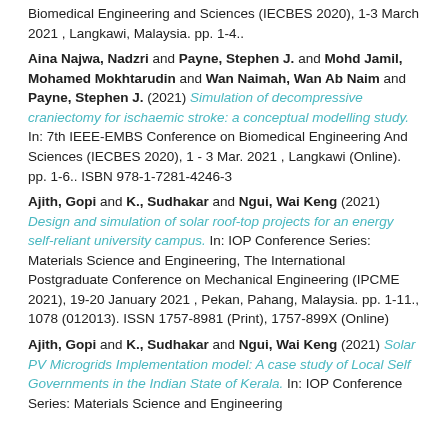Biomedical Engineering and Sciences (IECBES 2020), 1-3 March 2021, Langkawi, Malaysia. pp. 1-4..
Aina Najwa, Nadzri and Payne, Stephen J. and Mohd Jamil, Mohamed Mokhtarudin and Wan Naimah, Wan Ab Naim and Payne, Stephen J. (2021) Simulation of decompressive craniectomy for ischaemic stroke: a conceptual modelling study. In: 7th IEEE-EMBS Conference on Biomedical Engineering And Sciences (IECBES 2020), 1 - 3 Mar. 2021, Langkawi (Online). pp. 1-6.. ISBN 978-1-7281-4246-3
Ajith, Gopi and K., Sudhakar and Ngui, Wai Keng (2021) Design and simulation of solar roof-top projects for an energy self-reliant university campus. In: IOP Conference Series: Materials Science and Engineering, The International Postgraduate Conference on Mechanical Engineering (IPCME 2021), 19-20 January 2021, Pekan, Pahang, Malaysia. pp. 1-11., 1078 (012013). ISSN 1757-8981 (Print), 1757-899X (Online)
Ajith, Gopi and K., Sudhakar and Ngui, Wai Keng (2021) Solar PV Microgrids Implementation model: A case study of Local Self Governments in the Indian State of Kerala. In: IOP Conference Series: Materials Science and Engineering